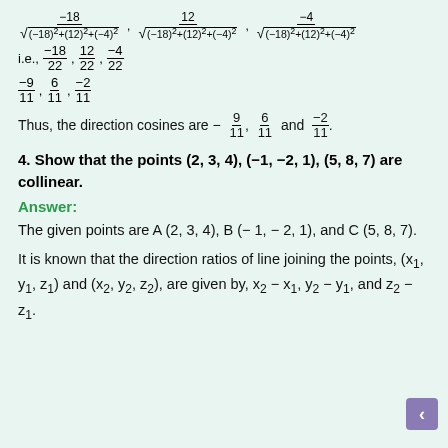Thus, the direction cosines are – 9/11, 6/11 and −2/11.
4. Show that the points (2, 3, 4), (−1, −2, 1), (5, 8, 7) are collinear.
Answer:
The given points are A (2, 3, 4), B (− 1, − 2, 1), and C (5, 8, 7).
It is known that the direction ratios of line joining the points, (x₁, y₁, z₁) and (x₂, y₂, z₂), are given by, x₂ − x₁, y₂ − y₁, and z₂ − z₁.